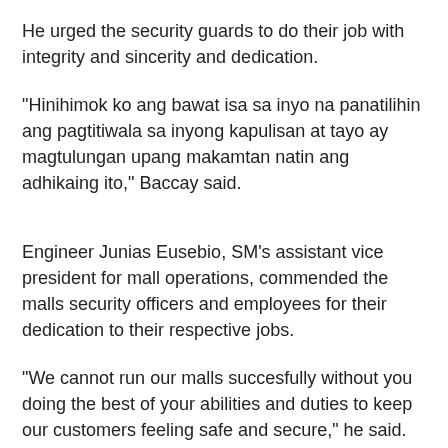He urged the security guards to do their job with integrity and sincerity and dedication.
"Hinihimok ko ang bawat isa sa inyo na panatilihin ang pagtitiwala sa inyong kapulisan at tayo ay magtulungan upang makamtan natin ang adhikaing ito," Baccay said.
Engineer Junias Eusebio, SM's assistant vice president for mall operations, commended the malls security officers and employees for their dedication to their respective jobs.
"We cannot run our malls succesfully without you doing the best of your abilities and duties to keep our customers feeling safe and secure," he said.